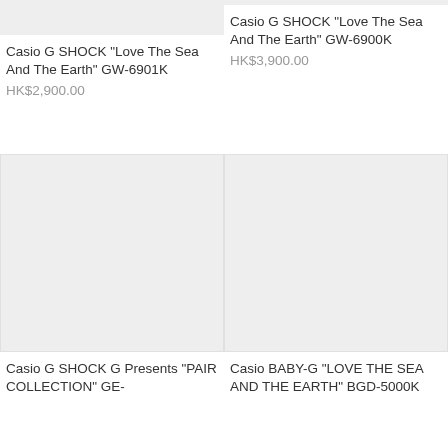[Figure (photo): Product image placeholder for GW-6901K watch (light gray background, partial view at top)]
Casio G SHOCK "Love The Sea And The Earth" GW-6901K
HK$2,900.00
[Figure (photo): Product image placeholder for GW-6900K watch (light gray background, partial view at top)]
Casio G SHOCK "Love The Sea And The Earth" GW-6900K
HK$3,900.00
[Figure (photo): Product image placeholder for G SHOCK G Presents PAIR COLLECTION watch (light gray background)]
Casio G SHOCK G Presents "PAIR COLLECTION" GE-
[Figure (photo): Product image placeholder for BABY-G LOVE THE SEA AND THE EARTH BGD-5000K watch (light gray background)]
Casio BABY-G "LOVE THE SEA AND THE EARTH" BGD-5000K